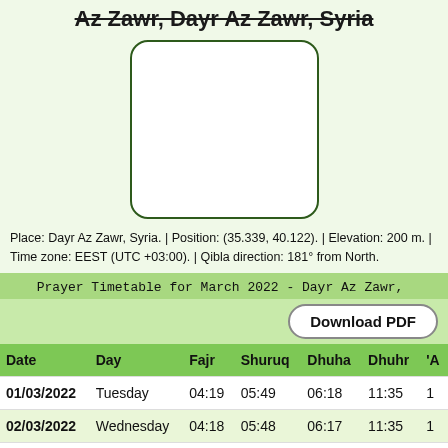Az Zawr, Dayr Az Zawr, Syria
[Figure (map): Map placeholder box with rounded corners and dark green border]
Place: Dayr Az Zawr, Syria. | Position: (35.339, 40.122). | Elevation: 200 m. | Time zone: EEST (UTC +03:00). | Qibla direction: 181° from North.
Prayer Timetable for March 2022 - Dayr Az Zawr,
Download PDF
| Date | Day | Fajr | Shuruq | Dhuha | Dhuhr | 'A |
| --- | --- | --- | --- | --- | --- | --- |
| 01/03/2022 | Tuesday | 04:19 | 05:49 | 06:18 | 11:35 | 1 |
| 02/03/2022 | Wednesday | 04:18 | 05:48 | 06:17 | 11:35 | 1 |
| 03/03/2022 | Thursday | 04:17 | 05:47 | 06:15 | 11:35 | 1 |